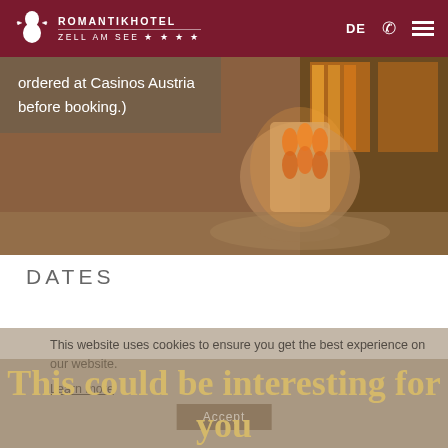ROMANTIKHOTEL ZELL AM SEE ★ ★ ★ ★   DE
[Figure (photo): Interior photo of a decorative illuminated column/fountain structure with ornate ironwork, warm orange glow, and stained glass windows in background]
ordered at Casinos Austria before booking.)
DATES
This website uses cookies to ensure you get the best experience on our website. Learn more
This could be interesting for you